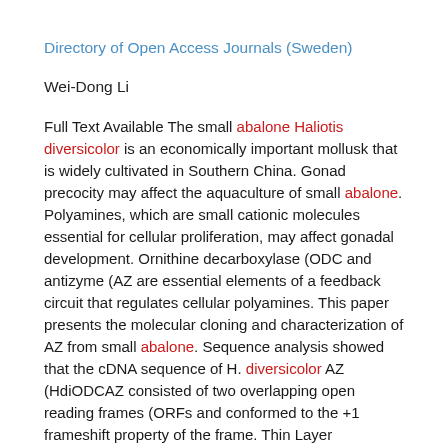Directory of Open Access Journals (Sweden)
Wei-Dong Li
Full Text Available The small abalone Haliotis diversicolor is an economically important mollusk that is widely cultivated in Southern China. Gonad precocity may affect the aquaculture of small abalone. Polyamines, which are small cationic molecules essential for cellular proliferation, may affect gonadal development. Ornithine decarboxylase (ODC and antizyme (AZ are essential elements of a feedback circuit that regulates cellular polyamines. This paper presents the molecular cloning and characterization of AZ from small abalone. Sequence analysis showed that the cDNA sequence of H. diversicolor AZ (HdiODCAZ consisted of two overlapping open reading frames (ORFs and conformed to the +1 frameshift property of the frame. Thin Layer chromatography (TLC analysis suggested that the expressed protein encoded by +1 ORF2 was the functional AZ that targets ODC to 26S proteasome degradation. The result demonstrated that the expression level of AZ was higher than that of ODC in the ovary of small abalone. In addition, the expression profiles of ODC and AZ at the different